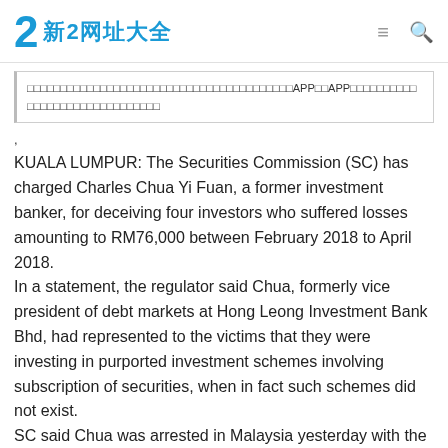新2网址大全
□□□□□□□□□□□□□□□□□□□□□□□□□□□□□□□□□□□□□□□□APP□□APP□□□□□□□□□□□□□□□□□□□□□□□□□□□□□
,
KUALA LUMPUR: The Securities Commission (SC) has charged Charles Chua Yi Fuan, a former investment banker, for deceiving four investors who suffered losses amounting to RM76,000 between February 2018 to April 2018. In a statement, the regulator said Chua, formerly vice president of debt markets at Hong Leong Investment Bank Bhd, had represented to the victims that they were investing in purported investment schemes involving subscription of securities, when in fact such schemes did not exist. SC said Chua was arrested in Malaysia yesterday with the